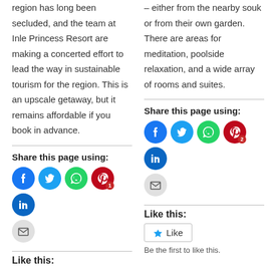region has long been secluded, and the team at Inle Princess Resort are making a concerted effort to lead the way in sustainable tourism for the region. This is an upscale getaway, but it remains affordable if you book in advance.
Share this page using:
[Figure (infographic): Row of social share icon circles: Facebook (blue), Twitter (light blue), WhatsApp (green), Pinterest (dark red with badge 1), LinkedIn (dark blue), Email (grey)]
Like this:
– either from the nearby souk or from their own garden. There are areas for meditation, poolside relaxation, and a wide array of rooms and suites.
Share this page using:
[Figure (infographic): Row of social share icon circles: Facebook (blue), Twitter (light blue), WhatsApp (green), Pinterest (dark red with badge 2), LinkedIn (dark blue), Email (grey)]
Like this:
[Figure (infographic): Like button with star icon]
Be the first to like this.